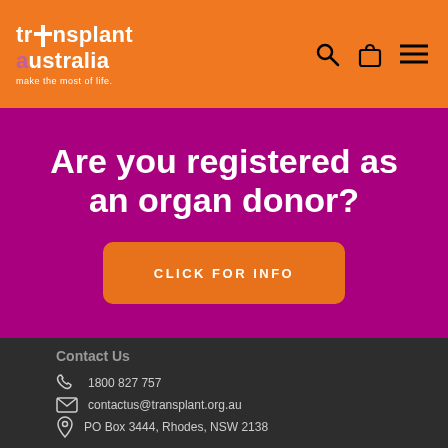transplant australia - make the most of life.
Are you registered as an organ donor?
CLICK FOR INFO
Contact Us
1800 827 757
contactus@transplant.org.au
PO Box 3444, Rhodes, NSW 2138